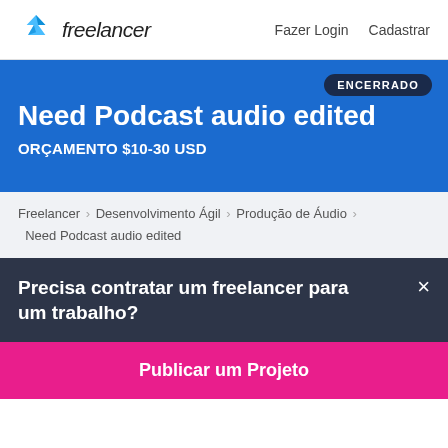freelancer | Fazer Login  Cadastrar
Need Podcast audio edited
ORÇAMENTO $10-30 USD
ENCERRADO
Freelancer › Desenvolvimento Ágil › Produção de Áudio › Need Podcast audio edited
Precisa contratar um freelancer para um trabalho?
Publicar um Projeto